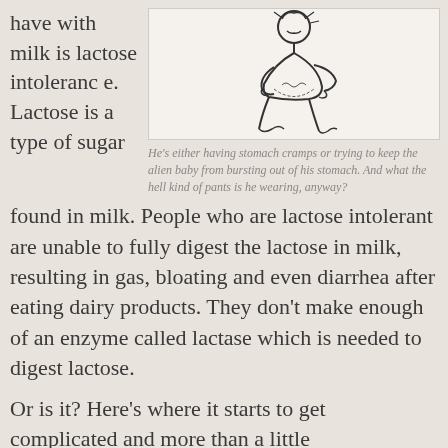have with milk is lactose intolerance. Lactose is a type of sugar
[Figure (illustration): Line drawing of a person hunched over holding their stomach, appearing to be in pain from stomach cramps.]
He's either having stomach cramps or trying to keep the alien baby from bursting out of his stomach. And what the hell kind of pants is he wearing, anyway?
found in milk. People who are lactose intolerant are unable to fully digest the lactose in milk, resulting in gas, bloating and even diarrhea after eating dairy products. They don't make enough of an enzyme called lactase which is needed to digest lactose.
Or is it? Here's where it starts to get complicated and more than a little